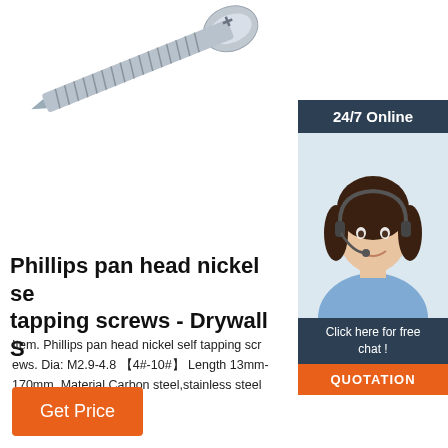[Figure (photo): Close-up photo of Phillips pan head nickel self tapping screw, metallic silver color with spiral threads visible, on white background]
[Figure (photo): Sidebar with '24/7 Online' header bar, photo of female customer service agent with headset smiling, 'Click here for free chat!' text, and orange QUOTATION button]
Phillips pan head nickel self tapping screws - Drywall S
Item. Phillips pan head nickel self tapping screws. Dia: M2.9-4.8 【4#-10#】 Length 13mm-170mm. Material Carbon steel,stainless steel etc. Surface treament
Get Price